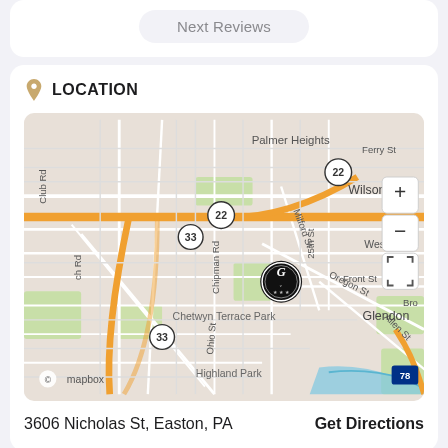Next Reviews
LOCATION
[Figure (map): Mapbox street map centered on 3606 Nicholas St, Easton, PA. Shows surrounding streets including US-22, Route 33, Milford St, Oregon St, Allen St, Ohio St, Front St. Neighborhoods labeled include Palmer Heights, Wilson, West E[aston], Glendon, Highland Park, Chetwyn Terrace Park. A business marker with a G logo is placed at the center. Map controls (zoom in/out, fullscreen) visible in top-right corner. Mapbox attribution in bottom-left.]
3606 Nicholas St, Easton, PA
Get Directions